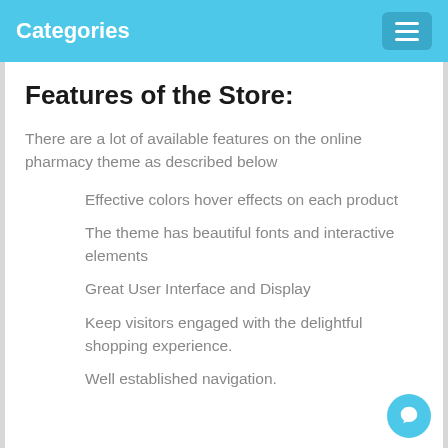Categories
Features of the Store:
There are a lot of available features on the online pharmacy theme as described below
Effective colors hover effects on each product
The theme has beautiful fonts and interactive elements
Great User Interface and Display
Keep visitors engaged with the delightful shopping experience.
Well established navigation.